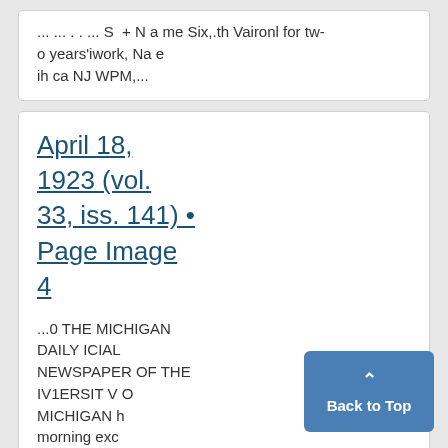... ... . . ... S + N a me Six,.th Vaironl for two years'iwork, Na e ih ca NJ WPM,...
April 18, 1923 (vol. 33, iss. 141) • Page Image 4
...0 THE MICHIGAN DAILY ICIAL NEWSPAPER OF THE IV1ERSIT V OF MICHIGAN h morning exc